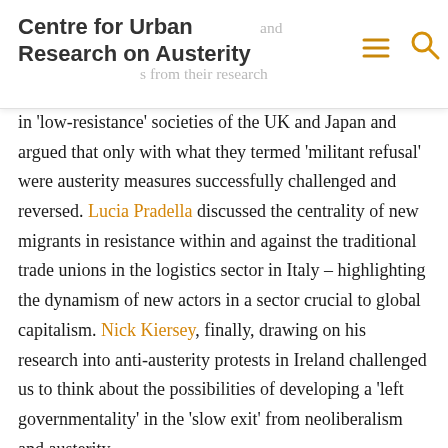Centre for Urban Research on Austerity
in 'low-resistance' societies of the UK and Japan and argued that only with what they termed 'militant refusal' were austerity measures successfully challenged and reversed. Lucia Pradella discussed the centrality of new migrants in resistance within and against the traditional trade unions in the logistics sector in Italy – highlighting the dynamism of new actors in a sector crucial to global capitalism. Nick Kiersey, finally, drawing on his research into anti-austerity protests in Ireland challenged us to think about the possibilities of developing a 'left governmentality' in the 'slow exit' from neoliberalism and austerity.